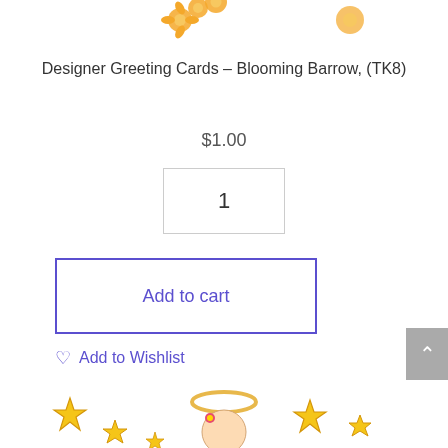[Figure (illustration): Bottom portion of a greeting card illustration showing a colorful flower design, partially cropped at top of page]
Designer Greeting Cards – Blooming Barrow, (TK8)
$1.00
1
Add to cart
Add to Wishlist
[Figure (illustration): Bottom portion of greeting card illustration showing stars, a halo, and a cartoon character with flower crown, partially visible at bottom of page]